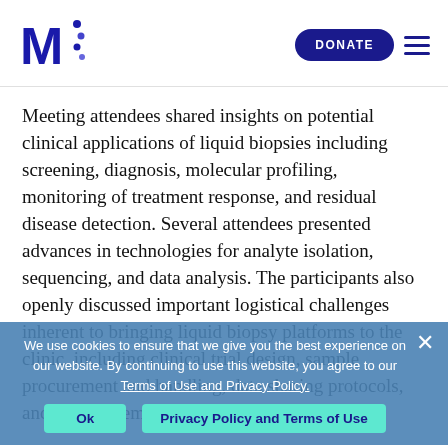[Figure (logo): Bold blue letter M with decorative DNA-like dots, organization logo]
Meeting attendees shared insights on potential clinical applications of liquid biopsies including screening, diagnosis, molecular profiling, monitoring of treatment response, and residual disease detection. Several attendees presented advances in technologies for analyte isolation, sequencing, and data analysis. The participants also openly discussed important logistical challenges inherent to bringing liquid biopsy platforms to the clinic, including clinical trial design, sample procurement and handling, data sharing protocols, and reimbursement issues. A number of new collaborations among investigators attending the workshop are currently under consideration for funding through The Mark Foundation, AACR...
We use cookies to ensure that we give you the best experience on our website. By continuing to use this website, you agree to our Terms of Use and Privacy Policy.